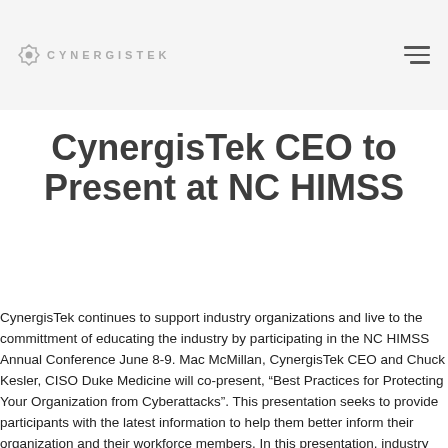CYNERGISTEK
CynergisTek CEO to Present at NC HIMSS
CynergisTek continues to support industry organizations and live to the committment of educating the industry by participating in the NC HIMSS Annual Conference June 8-9. Mac McMillan, CynergisTek CEO and Chuck Kesler, CISO Duke Medicine will co-present, "Best Practices for Protecting Your Organization from Cyberattacks". This presentation seeks to provide participants with the latest information to help them better inform their organization and their workforce members. In this presentation, industry experts will identify and explain today's most pressing cybersecurity threats, including recent and emerging trends in